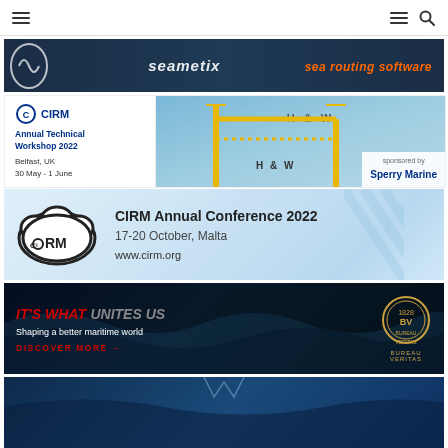Navigation bar with hamburger menus and search icon
[Figure (infographic): SeaMetix sea routing software banner advertisement with dark blue background and orange italic text reading 'sea routing software']
[Figure (infographic): CIRM Annual Technical Workshop 2022, Belfast UK 30 May - 1 June, sponsored by Sperry Marine, with yellow H&W crane in background]
[Figure (infographic): CIRM Annual Conference 2022, 17-20 October Malta, www.cirm.org, with CIRM bubble logo on blue diagonal background]
[Figure (infographic): Bureau Veritas advertisement: IT'S WHAT UNITES US - Shaping a better maritime world - DISCOVER MORE, with Bureau Veritas logo on dark ocean background]
[Figure (infographic): Partial banner at bottom of page, dark blue maritime background, content cut off]